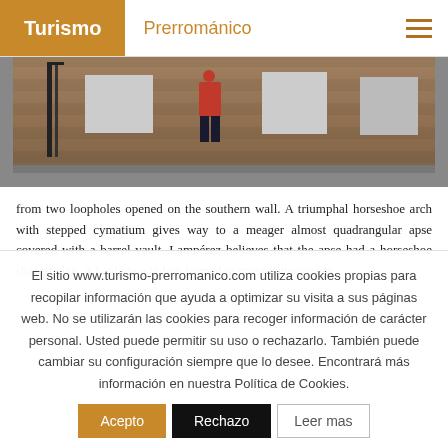Turismo Prerrománico
[Figure (photo): Interior of a pre-Romanesque church with stone walls; a person in a red jacket stands among white display pedestals on stone steps.]
from two loopholes opened on the southern wall. A triumphal horseshoe arch with stepped cymatium gives way to a meager almost quadrangular apse covered with a barrel vault. Lampérez believes that the apse had a horseshoe shaped plan. A keyhole window framed in cross pattée opens
El sitio www.turismo-prerromanico.com utiliza cookies propias para recopilar información que ayuda a optimizar su visita a sus páginas web. No se utilizarán las cookies para recoger información de carácter personal. Usted puede permitir su uso o rechazarlo. También puede cambiar su configuración siempre que lo desee. Encontrará más información en nuestra Política de Cookies.
Acepto  Rechazo  Leer mas